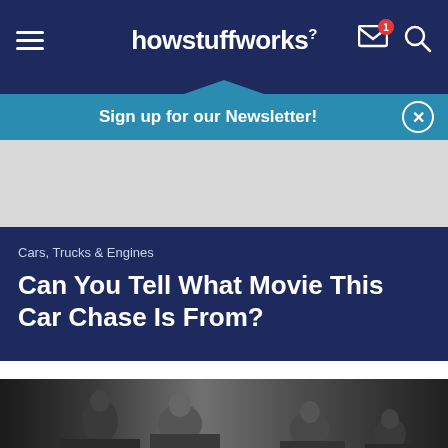howstuffworks
Sign up for our Newsletter!
Cars, Trucks & Engines
Can You Tell What Movie This Car Chase Is From?
[Figure (photo): Black and white movie still showing people, likely from a classic film related to a car chase scene]